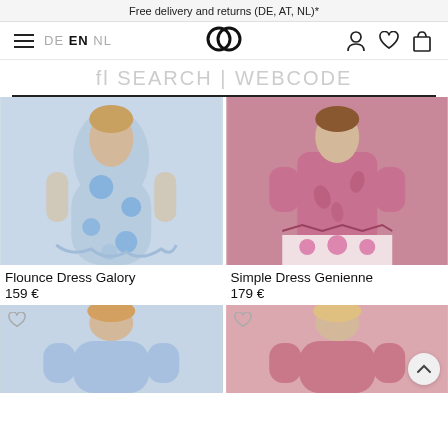Free delivery and returns (DE, AT, NL)*
[Figure (screenshot): Navigation bar with hamburger menu, language selector (DE EN NL), logo (interlocked circles), and icons for account, wishlist, and cart]
fl SEARCH | WEBCODE
[Figure (photo): Model wearing a blue floral flounce dress with long sleeves and tiered ruffle hem]
[Figure (photo): Model wearing a pink/magenta paisley print simple dress with 3/4 sleeves and white border hem]
Flounce Dress Galory
159 €
Simple Dress Genienne
179 €
[Figure (photo): Model wearing a light blue dress, partially visible, wishlist heart icon in top left]
[Figure (photo): Model wearing a pink/rose dress, partially visible, wishlist heart icon in top left, back-to-top button visible]